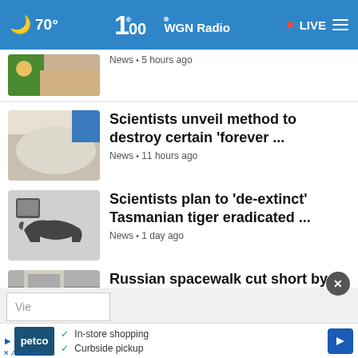🌙 70° | WGN Radio 100 | • LIVE
News • 5 hours ago
Scientists unveil method to destroy certain 'forever ... | News • 11 hours ago
Scientists plan to 'de-extinct' Tasmanian tiger eradicated ... | News • 1 day ago
Russian spacewalk cut short by bad battery in cosmonaut ... | Science News • 1 day ago
How to nix mosquitoes and reclaim your yard and garden | News • 2 days ago
[Figure (screenshot): Petco advertisement: In-store shopping, Curbside pickup]